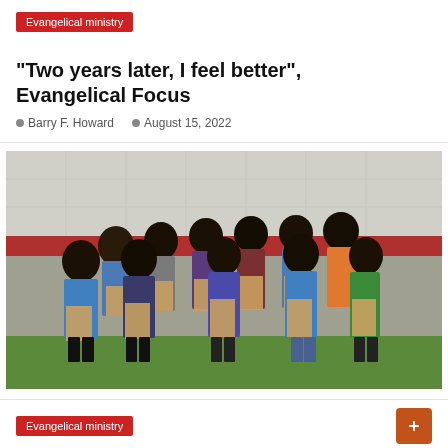Evangelical ministry
“Two years later, I feel better”, Evangelical Focus
Barry F. Howard   August 15, 2022
[Figure (photo): Group of children in school uniforms standing outdoors, each holding a brown paper package/envelope, in front of a building with a red and white wall.]
Evangelical ministry